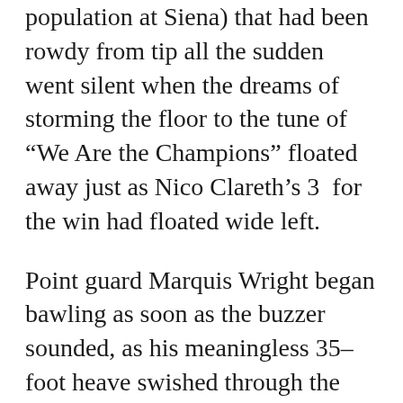population at Siena) that had been rowdy from tip all the sudden went silent when the dreams of storming the floor to the tune of “We Are the Champions” floated away just as Nico Clareth’s 3 for the win had floated wide left.
Point guard Marquis Wright began bawling as soon as the buzzer sounded, as his meaningless 35-foot heave swished through the net. Clareth just sat there on the hardwood, unable to believe that it was over. Javion Ogunyemi, who had missed a few early free throws but dominated the offensive